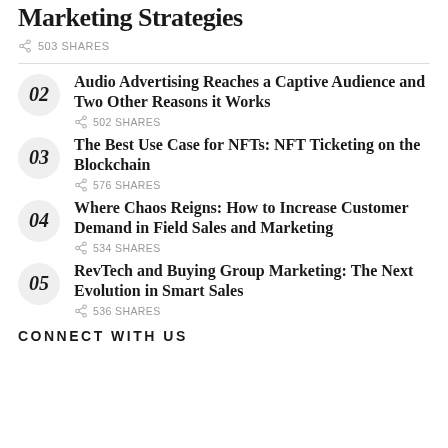Marketing Strategies
503 SHARES
02 Audio Advertising Reaches a Captive Audience and Two Other Reasons it Works — 502 SHARES
03 The Best Use Case for NFTs: NFT Ticketing on the Blockchain — 576 SHARES
04 Where Chaos Reigns: How to Increase Customer Demand in Field Sales and Marketing — 534 SHARES
05 RevTech and Buying Group Marketing: The Next Evolution in Smart Sales — 536 SHARES
CONNECT WITH US